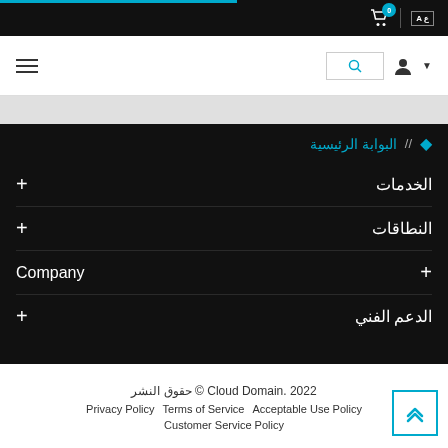0 [cart icon] | [language toggle]
[Figure (screenshot): Navigation bar with hamburger menu, search box, user icon and dropdown arrow]
البوابة الرئيسية //
الخدمات +
النطاقات +
Company +
الدعم الفني +
حقوق النشر © Cloud Domain. 2022
Privacy Policy   Terms of Service   Acceptable Use Policy
Customer Service Policy